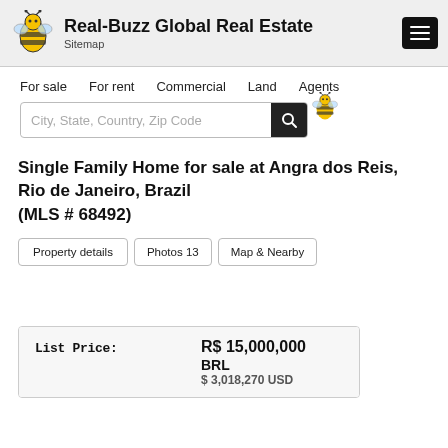Real-Buzz Global Real Estate — Sitemap
For sale  For rent  Commercial  Land  Agents
City, State, Country, Zip Code
Single Family Home for sale at Angra dos Reis, Rio de Janeiro, Brazil (MLS # 68492)
Property details  Photos 13  Map & Nearby
|  |  |
| --- | --- |
| List Price: | R$ 15,000,000 BRL
$ 3,018,270 USD |